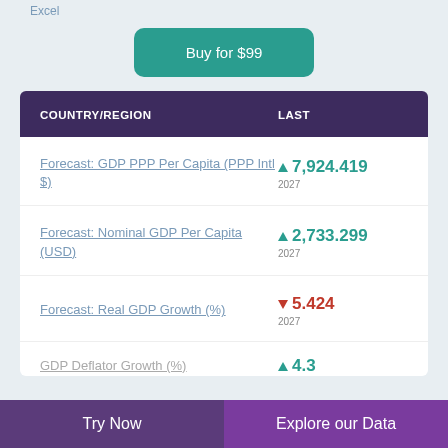Excel
Buy for $99
| COUNTRY/REGION | LAST |
| --- | --- |
| Forecast: GDP PPP Per Capita (PPP Intl $) | ▲ 7,924.419 2027 |
| Forecast: Nominal GDP Per Capita (USD) | ▲ 2,733.299 2027 |
| Forecast: Real GDP Growth (%) | ▼ 5.424 2027 |
| GDP Deflator Growth (%) | ▲ 4.3 |
Try Now
Explore our Data